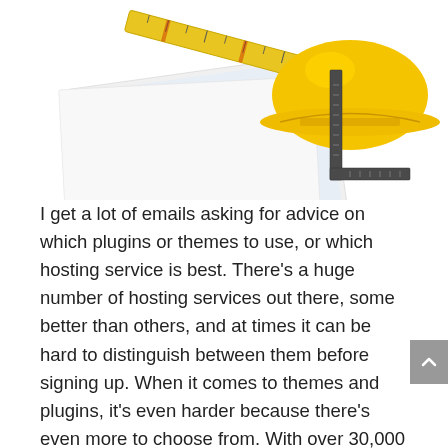[Figure (photo): Construction tools and materials: a yellow hard hat, a ruler/measuring tape, engineering blueprints/documents, and a set square/steel square on a white background.]
I get a lot of emails asking for advice on which plugins or themes to use, or which hosting service is best. There's a huge number of hosting services out there, some better than others, and at times it can be hard to distinguish between them before signing up. When it comes to themes and plugins, it's even harder because there's even more to choose from. With over 30,000 plugins in the official Plugin Directory, and over 2,500 themes in the Themes Directory, it can make for even more difficulties. And that's not taking into account